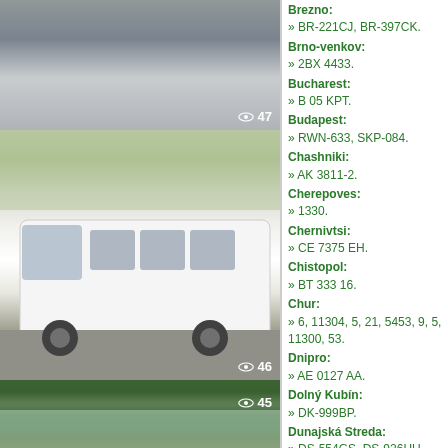[Figure (photo): Partial view of a building rooftop or bus shelter structure, grey tones, view counter shows 47]
[Figure (photo): White minibus/midibus on a road, trees and commercial buildings in background, view counter shows 46]
[Figure (photo): Teal/turquoise small bus on a roundabout road with green landscape background, view counter shows 45]
[Figure (photo): Partial view of a fourth bus photo, trees visible, bottom of page]
Brezno:
» BR-221CJ, BR-397CK.
Brno-venkov:
» 2BX 4433.
Bucharest:
» B 05 KPT.
Budapest:
» RWN-633, SKP-084.
Chashniki:
» AK 3811-2.
Cherepoves:
» 1330.
Chernivtsi:
» CE 7375 EH.
Chistopol:
» BT 333 16.
Chur:
» 6, 11304, 5, 21, 5453, 9, 5, 11300, 53.
Dnipro:
» AE 0127 AA.
Dolný Kubín:
» DK-999BP.
Dunajská Streda:
» DS-554GS, DS-926HU, D…
Düsseldorf:
» 5007, 2107.
Eindhoven:
» 9533.
Ekaterinburg: